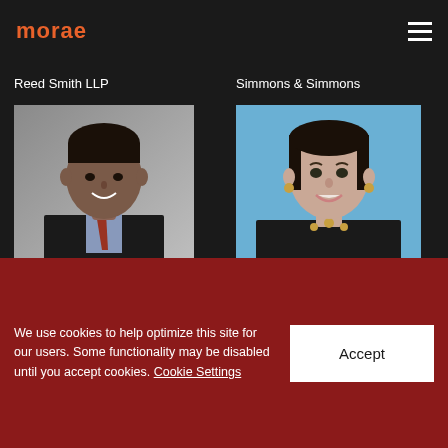morae
Reed Smith LLP
Simmons & Simmons
[Figure (photo): Headshot of Rishi Varma, a man in a dark suit with a tie, against a grey background]
[Figure (photo): Headshot of Gayle Littleton, a woman with dark hair, smiling, against a blue background]
Rishi Varma
Gayle Littleton
We use cookies to help optimize this site for our users. Some functionality may be disabled until you accept cookies. Cookie Settings
Accept